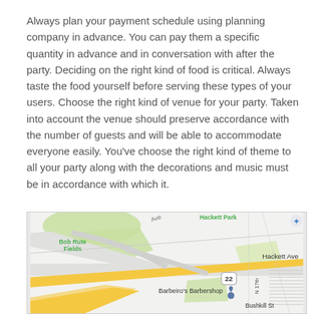Always plan your payment schedule using planning company in advance. You can pay them a specific quantity in advance and in conversation with after the party. Deciding on the right kind of food is critical. Always taste the food yourself before serving these types of your users. Choose the right kind of venue for your party. Taken into account the venue should preserve accordance with the number of guests and will be able to accommodate everyone easily. You've choose the right kind of theme to all your party along with the decorations and music must be in accordance with which it.
[Figure (map): Google Maps screenshot showing Bob Rute Fields, Hackett Park, Hackett Ave, Route 22, Barbeiro's Barbershop location pin, Bushkill St, and surrounding road network.]